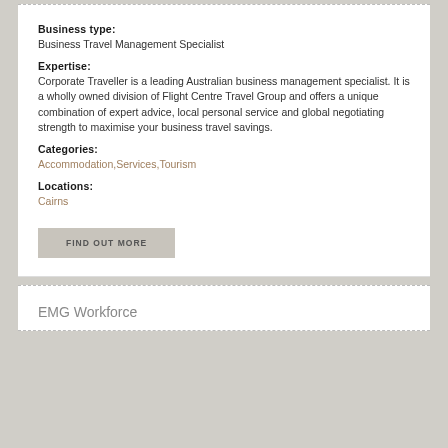Business type:
Business Travel Management Specialist
Expertise:
Corporate Traveller is a leading Australian business management specialist. It is a wholly owned division of Flight Centre Travel Group and offers a unique combination of expert advice, local personal service and global negotiating strength to maximise your business travel savings.
Categories:
Accommodation,Services,Tourism
Locations:
Cairns
FIND OUT MORE
EMG Workforce